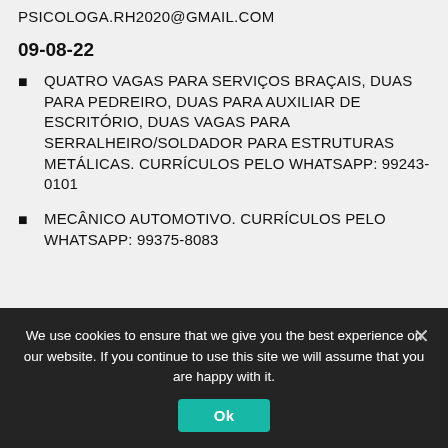PSICOLOGA.RH2020@GMAIL.COM
09-08-22
QUATRO VAGAS PARA SERVIÇOS BRAÇAIS, DUAS PARA PEDREIRO, DUAS PARA AUXILIAR DE ESCRITÓRIO, DUAS VAGAS PARA SERRALHEIRO/SOLDADOR PARA ESTRUTURAS METÁLICAS. CURRÍCULOS PELO WHATSAPP: 99243-0101
MECÂNICO AUTOMOTIVO. CURRÍCULOS PELO WHATSAPP: 99375-8083
We use cookies to ensure that we give you the best experience on our website. If you continue to use this site we will assume that you are happy with it.